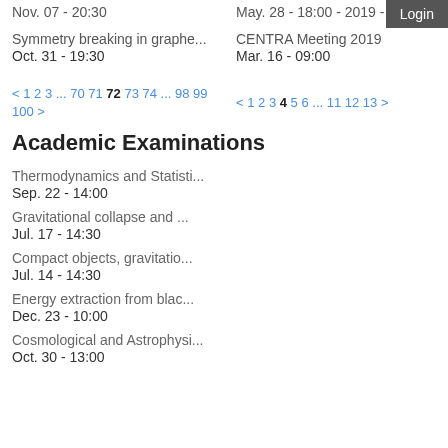Nov. 07 - 20:30
May. 28 - 18:00 - 2019 - 18:0
Login
Symmetry breaking in graphe...
Oct. 31 - 19:30
CENTRA Meeting 2019
Mar. 16 - 09:00
< 1 2 3 ... 70 71 72 73 74 ... 98 99 100 >
< 1 2 3 4 5 6 ... 11 12 13 >
Academic Examinations
Thermodynamics and Statisti...
Sep. 22 - 14:00
Gravitational collapse and ...
Jul. 17 - 14:30
Compact objects, gravitatio...
Jul. 14 - 14:30
Energy extraction from blac...
Dec. 23 - 10:00
Cosmological and Astrophysi...
Oct. 30 - 13:00